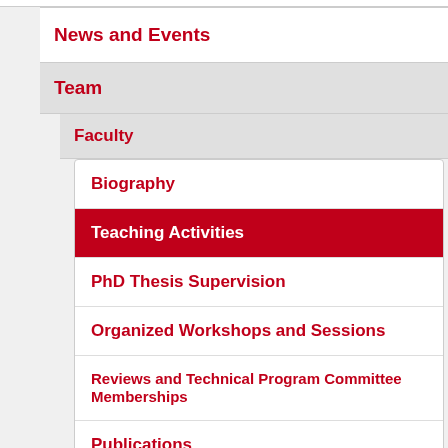News and Events
Team
Faculty
Biography
Teaching Activities
PhD Thesis Supervision
Organized Workshops and Sessions
Reviews and Technical Program Committee Memberships
Publications